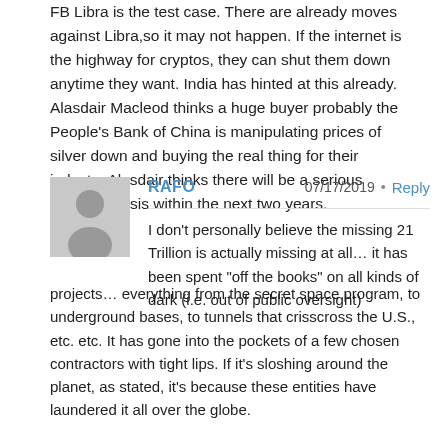FB Libra is the test case. There are already moves against Libra,so it may not happen. If the internet is the highway for cryptos, they can shut them down anytime they want. India has hinted at this already. Alasdair Macleod thinks a huge buyer probably the People's Bank of China is manipulating prices of silver down and buying the real thing for their industry.Alasdair thinks there will be a serious currency crisis within the next two years.
RAFO
07/17/2019
Reply
[Figure (illustration): Gray avatar silhouette icon showing a person outline]
I don't personally believe the missing 21 Trillion is actually missing at all… it has been spent "off the books" on all kinds of dark (i.e. out of public oversight) projects… everything from the secret space program, to underground bases, to tunnels that crisscross the U.S., etc. etc. It has gone into the pockets of a few chosen contractors with tight lips. If it's sloshing around the planet, as stated, it's because these entities have laundered it all over the globe.